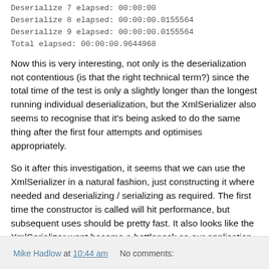Deserialize 7 elapsed: 00:00:00
Deserialize 8 elapsed: 00:00:00.0155564
Deserialize 9 elapsed: 00:00:00.0155564
Total elapsed: 00:00:00.9644968
Now this is very interesting, not only is the deserialization not contentious (is that the right technical term?) since the total time of the test is only a slightly longer than the longest running individual deserialization, but the XmlSerializer also seems to recognise that it's being asked to do the same thing after the first four attempts and optimises appropriately.
So it after this investigation, it seems that we can use the XmlSerializer in a natural fashion, just constructing it where needed and deserializing / serializing as required. The first time the constructor is called will hit performance, but subsequent uses should be pretty fast. It also looks like the XmlSerializer wont become a bottleneck as our application scales. All in all pretty impressive.
Mike Hadlow at 10:44 am    No comments: